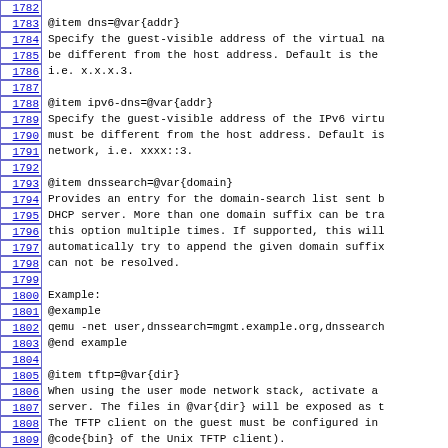1782
1783 @item dns=@var{addr}
1784 Specify the guest-visible address of the virtual na
1785 be different from the host address. Default is the
1786 i.e. x.x.x.3.
1787
1788 @item ipv6-dns=@var{addr}
1789 Specify the guest-visible address of the IPv6 virtu
1790 must be different from the host address. Default is
1791 network, i.e. xxxx::3.
1792
1793 @item dnssearch=@var{domain}
1794 Provides an entry for the domain-search list sent b
1795 DHCP server. More than one domain suffix can be tra
1796 this option multiple times. If supported, this will
1797 automatically try to append the given domain suffix
1798 can not be resolved.
1799
1800 Example:
1801 @example
1802 qemu -net user,dnssearch=mgmt.example.org,dnssearch
1803 @end example
1804
1805 @item tftp=@var{dir}
1806 When using the user mode network stack, activate a
1807 server. The files in @var{dir} will be exposed as t
1808 The TFTP client on the guest must be configured in
1809 @code{bin} of the Unix TFTP client).
1810
1811 @item bootfile=@var{file}